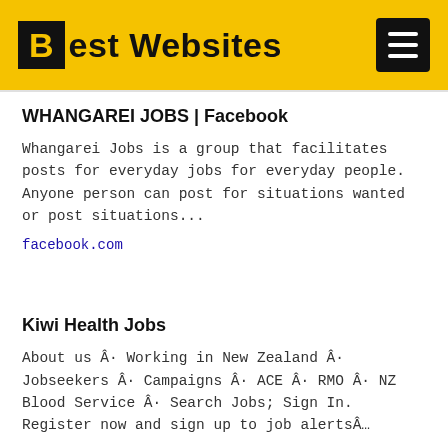Best Websites
WHANGAREI JOBS | Facebook
Whangarei Jobs is a group that facilitates posts for everyday jobs for everyday people. Anyone person can post for situations wanted or post situations...
facebook.com
Kiwi Health Jobs
About us Â· Working in New Zealand Â· Jobseekers Â· Campaigns Â· ACE Â· RMO Â· NZ Blood Service Â· Search Jobs; Sign In. Register now and sign up to job alertsÂ…